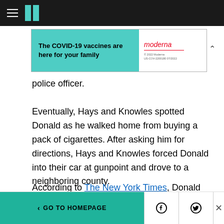HuffPost navigation bar with hamburger menu and logo
[Figure (other): Advertisement banner: 'The COVID-19 vaccines are here for your family' with Moderna logo on white background, teal left panel]
police officer.
Eventually, Hays and Knowles spotted Donald as he walked home from buying a pack of cigarettes. After asking him for directions, Hays and Knowles forced Donald into their car at gunpoint and drove to a neighboring county.
According to The New York Times, Donald begged for his life and tried to escape. But the
< GO TO HOMEPAGE [Facebook] [Twitter] [X]